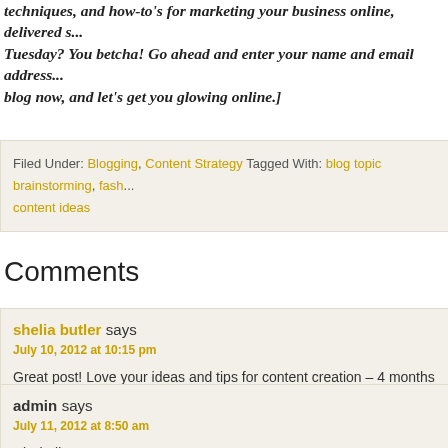techniques, and how-to's for marketing your business online, delivered s... Tuesday? You betcha! Go ahead and enter your name and email address... blog now, and let's get you glowing online.]
Filed Under: Blogging, Content Strategy Tagged With: blog topic brainstorming, fash... content ideas
Comments
shelia butler says
July 10, 2012 at 10:15 pm
Great post! Love your ideas and tips for content creation – 4 months wo... bad 🙂 Can't wait to learn more about you and your services.
Reply
admin says
July 11, 2012 at 8:50 am
Hi Shelia!